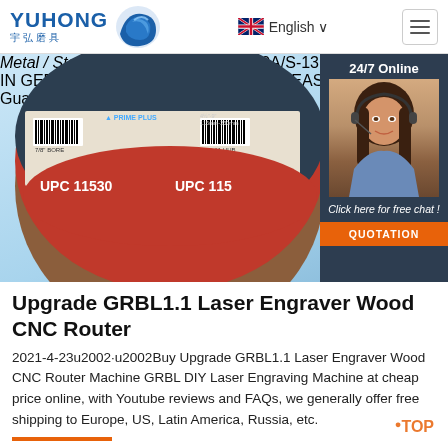[Figure (logo): YUHONG 宇弘磨具 logo with blue wave icon]
English ∨
[Figure (photo): Grinding/cutting disc product photo (UPC 11530, Metal/Steel, Type 27) with 24/7 Online chat agent sidebar showing a woman with headset]
Upgrade GRBL1.1 Laser Engraver Wood CNC Router
2021-4-23u2002·u2002Buy Upgrade GRBL1.1 Laser Engraver Wood CNC Router Machine GRBL DIY Laser Engraving Machine at cheap price online, with Youtube reviews and FAQs, we generally offer free shipping to Europe, US, Latin America, Russia, etc.